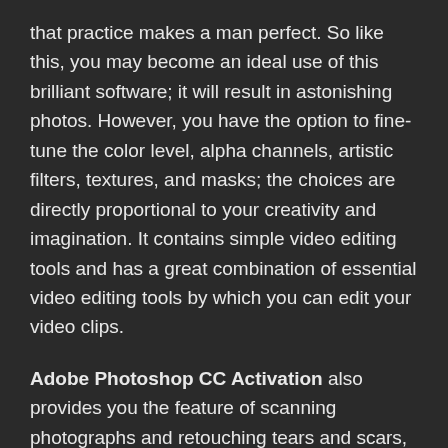that practice makes a man perfect. So like this, you may become an ideal use of this brilliant software; it will result in astonishing photos. However, you have the option to fine-tune the color level, alpha channels, artistic filters, textures, and masks; the choices are directly proportional to your creativity and imagination. It contains simple video editing tools and has a great combination of essential video editing tools by which you can edit your video clips.
Adobe Photoshop CC Activation also provides you the feature of scanning photographs and retouching tears and scars, water harm, and extra to make the photograph like new again, even to the point of reinvigorating colors that will have pale over time. If you haven't had a go at studying Adobe Photoshop, it is about time so that you can be taught. That is an update for Adobe Photoshop which